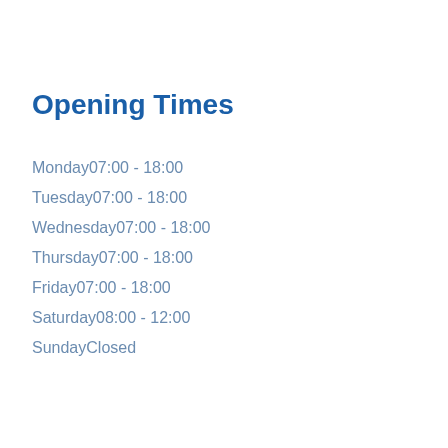Opening Times
Monday07:00 - 18:00
Tuesday07:00 - 18:00
Wednesday07:00 - 18:00
Thursday07:00 - 18:00
Friday07:00 - 18:00
Saturday08:00 - 12:00
SundayClosed